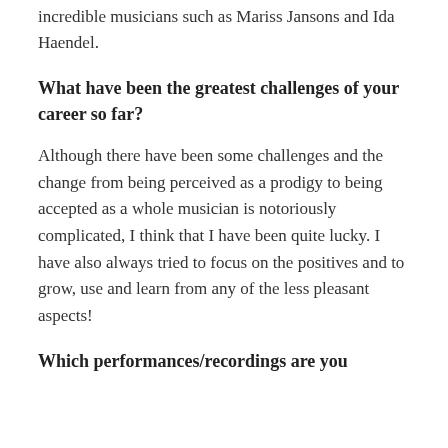incredible musicians such as Mariss Jansons and Ida Haendel.
What have been the greatest challenges of your career so far?
Although there have been some challenges and the change from being perceived as a prodigy to being accepted as a whole musician is notoriously complicated, I think that I have been quite lucky. I have also always tried to focus on the positives and to grow, use and learn from any of the less pleasant aspects!
Which performances/recordings are you